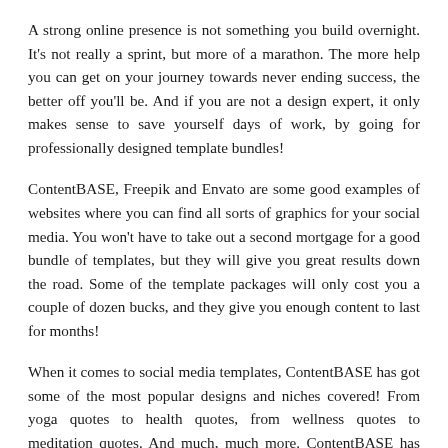A strong online presence is not something you build overnight. It's not really a sprint, but more of a marathon. The more help you can get on your journey towards never ending success, the better off you'll be. And if you are not a design expert, it only makes sense to save yourself days of work, by going for professionally designed template bundles!
ContentBASE, Freepik and Envato are some good examples of websites where you can find all sorts of graphics for your social media. You won't have to take out a second mortgage for a good bundle of templates, but they will give you great results down the road. Some of the template packages will only cost you a couple of dozen bucks, and they give you enough content to last for months!
When it comes to social media templates, ContentBASE has got some of the most popular designs and niches covered! From yoga quotes to health quotes, from wellness quotes to meditation quotes. And much, much more. ContentBASE has all of it, and it also their ideas. Browse to see the rest with...